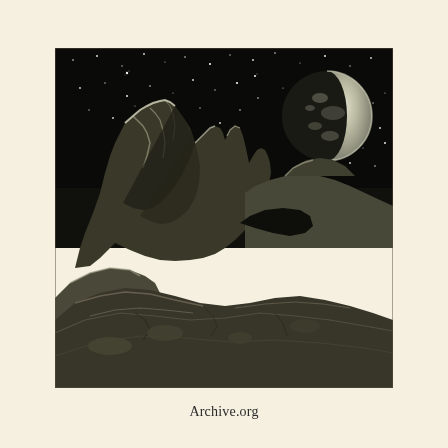[Figure (illustration): A black and white engraving depicting a lunar landscape. In the foreground are rugged rocky formations and boulders. A dramatic jagged mountain peak rises on the left side. The sky is black and filled with stars. A large crescent or gibbous Earth (or moon) glows in the upper right corner of the sky. The scene suggests a view from the Moon's surface looking out at a barren, airless landscape.]
Archive.org